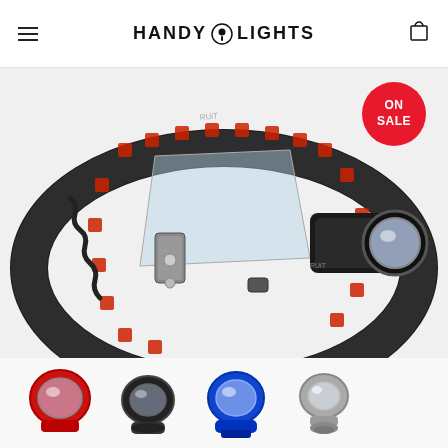HANDY LIGHTS
[Figure (photo): LED headlamp with adjustable black strap featuring red square pattern. The headlamp has a single large LED lens with zoom function. An ON SALE red circular badge is in the upper right. Below the main headlamp are four thumbnail images of headlamp lens components in different colors: red, black, blue, and silver/grey.]